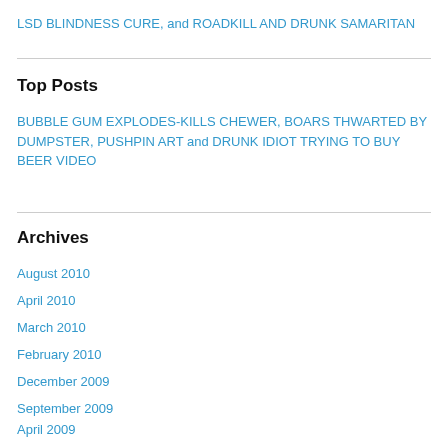LSD BLINDNESS CURE, and ROADKILL AND DRUNK SAMARITAN
Top Posts
BUBBLE GUM EXPLODES-KILLS CHEWER, BOARS THWARTED BY DUMPSTER, PUSHPIN ART and DRUNK IDIOT TRYING TO BUY BEER VIDEO
Archives
August 2010
April 2010
March 2010
February 2010
December 2009
September 2009
April 2009
January 2009